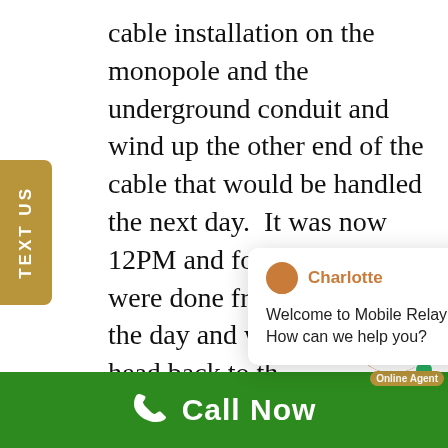cable installation on the monopole and the underground conduit and wind up the other end of the cable that would be handled the next day.  It was now 12PM and for now the guys were done from the heat of the day and were ready to head back to th... swimming... customer... head over to the fire department to reprogram their 3 base stations a... mobiles.  They also had 9 portable r... that needed reprogramming.
[Figure (screenshot): Chat popup with Charlotte avatar, name in orange, welcome message: Welcome to Mobile Relay Associates! How can we help you?, and a close X button]
[Figure (photo): Online agent photo of a smiling red-haired woman with Online Agent label and green online dot, notification badge showing 1]
[Figure (other): TEXT US vertical tab button in tan/brown color on left side]
Call Now